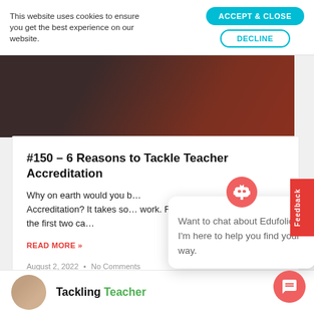This website uses cookies to ensure you get the best experience on our website.
ACCEPT & CLOSE
DECLINE
[Figure (photo): Partial photo of a person in dark clothing against a reddish-brown background]
#150 – 6 Reasons to Tackle Teacher Accreditation
Why on earth would you b... Accreditation? It takes so... work. For the first two ca...
READ MORE »
Want to chat about Edufolios? I'm here to help you find your way.
August 2, 2022 • No Comments
[Figure (photo): Small circular avatar photo of a person]
Tackling Teacher